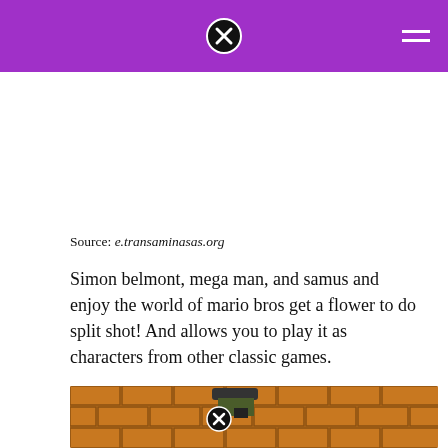Source: e.transaminasas.org
Simon belmont, mega man, and samus and enjoy the world of mario bros get a flower to do split shot! And allows you to play it as characters from other classic games.
[Figure (screenshot): Game screenshot showing brick-wall background with a character dressed in dark hat and clothes, a purple sound/speaker button on the left, and a close (X) button overlay.]